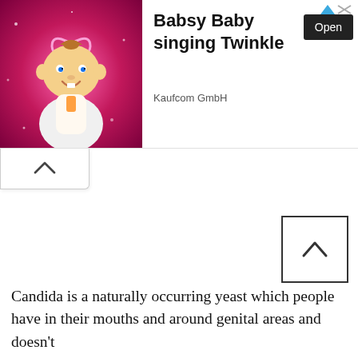[Figure (advertisement): Babsy Baby singing Twinkle advertisement banner with cartoon baby character on pink sparkly background. Open button and Kaufcom GmbH advertiser label.]
Candida is a naturally occurring yeast which people have in their mouths and around genital areas and doesn't